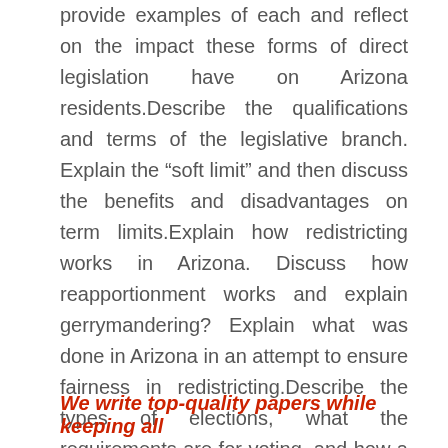provide examples of each and reflect on the impact these forms of direct legislation have on Arizona residents.Describe the qualifications and terms of the legislative branch. Explain the “soft limit” and then discuss the benefits and disadvantages on term limits.Explain how redistricting works in Arizona. Discuss how reapportionment works and explain gerrymandering? Explain what was done in Arizona in an attempt to ensure fairness in redistricting.Describe the types of elections, what the requirements are for voting, and how a resident of Arizona would register to vote?
We write top-quality papers while keeping all